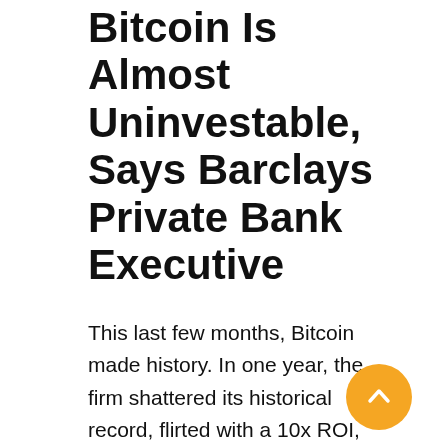Bitcoin Is Almost Uninvestable, Says Barclays Private Bank Executive
This last few months, Bitcoin made history. In one year, the firm shattered its historical record, flirted with a 10x ROI, even hit ATH and became the highest performing asset of the decade. However, is it overall a decent investment? All depends on your crystal. For example, Gerald Moser, the Barclays Private Bank's chief market strategist, does not believe this.
The swings in the price of Bitcoin and other cryptocurrencies are so serious for Moser that